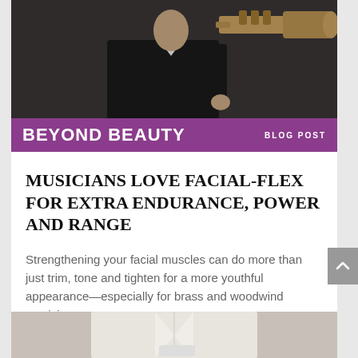[Figure (photo): A musician in a dark suit playing a trumpet, photographed from the torso up against a dark background.]
BEYOND BEAUTY   BLOG POST
MUSICIANS LOVE FACIAL-FLEX FOR EXTRA ENDURANCE, POWER AND RANGE
Strengthening your facial muscles can do more than just trim, tone and tighten for a more youthful appearance—especially for brass and woodwind musicians.
read more
[Figure (photo): A person in a white lab coat or medical coat, visible from shoulders down, partially cropped at bottom of page.]